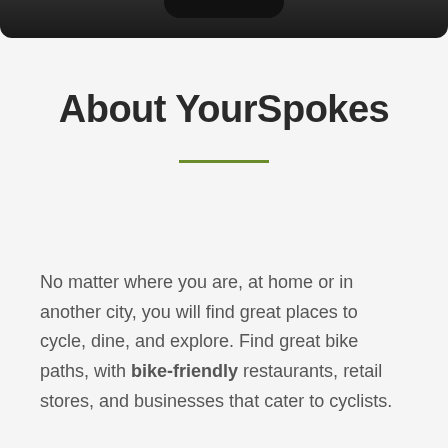[Figure (illustration): Top portion of a smartphone device shown at the top of the page, dark black color with rounded bottom corners and a camera notch.]
About YourSpokes
No matter where you are, at home or in another city, you will find great places to cycle, dine, and explore. Find great bike paths, with bike-friendly restaurants, retail stores, and businesses that cater to cyclists.